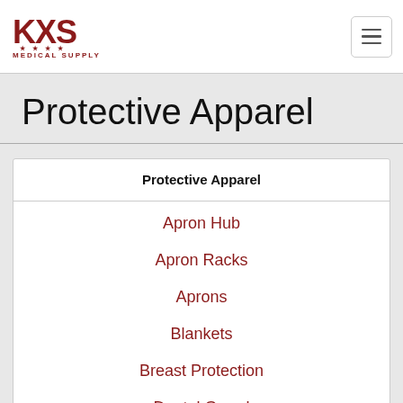KXS Medical Supply
Protective Apparel
| Protective Apparel |
| --- |
| Apron Hub |
| Apron Racks |
| Aprons |
| Blankets |
| Breast Protection |
| Dental Guard |
| Drapes |